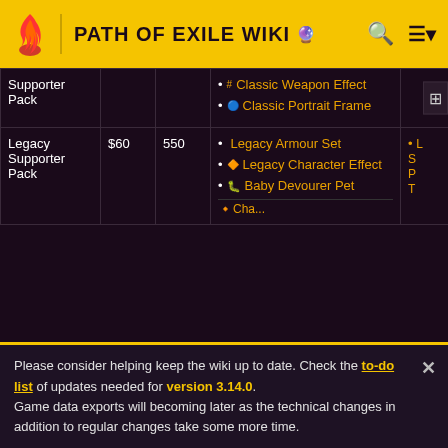PATH OF EXILE WIKI
| Name | Price | Points | Cosmetic items | Other |
| --- | --- | --- | --- | --- |
| Supporter Pack |  |  | • Classic Weapon Effect
• Classic Portrait Frame |  |
| Legacy Supporter Pack | $60 | 550 | • Legacy Armour Set
• Legacy Character Effect
• Baby Devourer Pet | • L... |
Please consider helping keep the wiki up to date. Check the to-do list of updates needed for version 3.14.0.
Game data exports will becoming later as the technical changes in addition to regular changes take some more time.